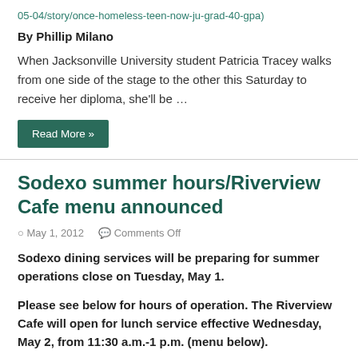05-04/story/once-homeless-teen-now-ju-grad-40-gpa)
By Phillip Milano
When Jacksonville University student Patricia Tracey walks from one side of the stage to the other this Saturday to receive her diploma, she'll be …
Read More »
Sodexo summer hours/Riverview Cafe menu announced
May 1, 2012   Comments Off
Sodexo dining services will be preparing for summer operations close on Tuesday, May 1.
Please see below for hours of operation. The Riverview Cafe will open for lunch service effective Wednesday, May 2, from 11:30 a.m.-1 p.m. (menu below).
Payment …